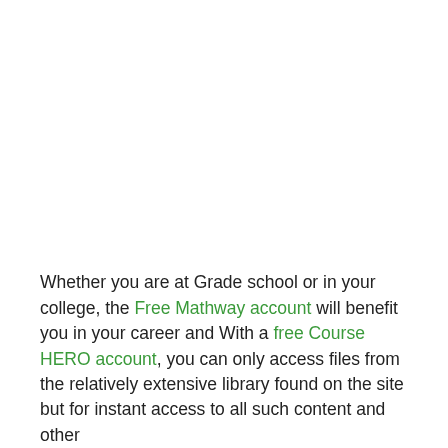Whether you are at Grade school or in your college, the Free Mathway account will benefit you in your career and With a free Course HERO account, you can only access files from the relatively extensive library found on the site but for instant access to all such content and other